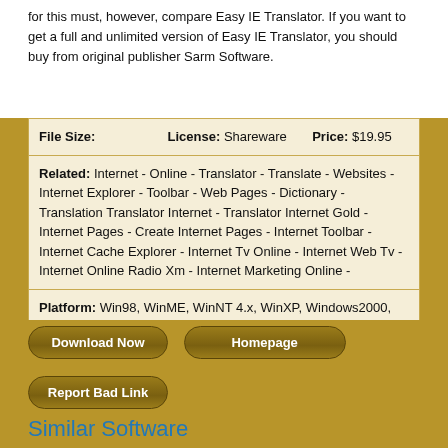for this must, however, compare Easy IE Translator. If you want to get a full and unlimited version of Easy IE Translator, you should buy from original publisher Sarm Software.
| File Size: | License: Shareware | Price: $19.95 |
| Related: Internet - Online - Translator - Translate - Websites - Internet Explorer - Toolbar - Web Pages - Dictionary - Translation Translator Internet - Translator Internet Gold - Internet Pages - Create Internet Pages - Internet Toolbar - Internet Cache Explorer - Internet Tv Online - Internet Web Tv - Internet Online Radio Xm - Internet Marketing Online - |
| Platform: Win98, WinME, WinNT 4.x, WinXP, Windows2000, Windows2003 |
| Downloads: 5 | Category: Internet \ Misc. Network |
Download Now   Homepage   Report Bad Link
Similar Software
IE Translator 2.3.5   Sarm Software   Web Browsers   Screenshot   Download
Translate Web pages with a single click! Sarmsoft IE Translator empowers your Web browser with a translation toolbar that you can use to browse Web sites in...